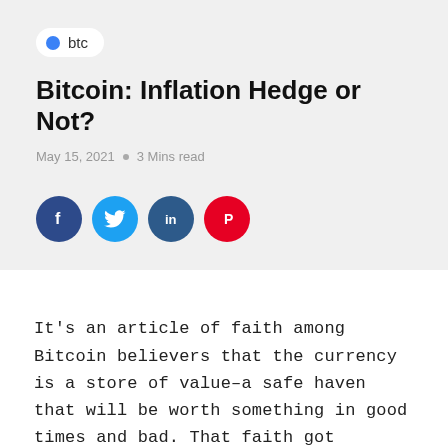btc
Bitcoin: Inflation Hedge or Not?
May 15, 2021  ○  3 Mins read
[Figure (infographic): Social media share icons: Facebook, Twitter, LinkedIn, Pinterest]
It's an article of faith among Bitcoin believers that the currency is a store of value–a safe haven that will be worth something in good times and bad. That faith got tested, however, when an alarming U.S. inflation report on Monday led nervous investors to sell off assets of all sorts, inc... Bit...